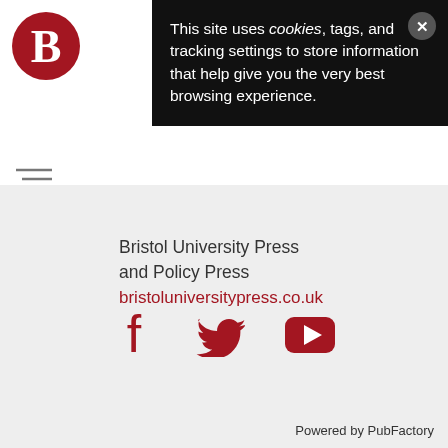[Figure (logo): Bristol University Press logo — red circle with white letter B]
This site uses cookies, tags, and tracking settings to store information that help give you the very best browsing experience.
Bristol University Press and Policy Press
bristoluniversitypress.co.uk
[Figure (infographic): Social media icons: Facebook, Twitter, YouTube in dark red/crimson color]
Powered by PubFactory